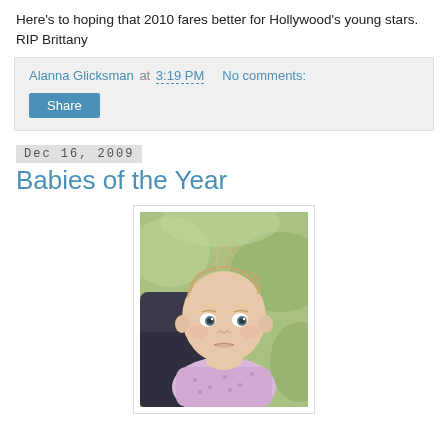Here's to hoping that 2010 fares better for Hollywood's young stars. RIP Brittany
Alanna Glicksman at 3:19 PM   No comments:
Share
Dec 16, 2009
Babies of the Year
[Figure (photo): Portrait photo of a baby with light brown hair wearing a light purple dotted outfit, with a blurred green background]